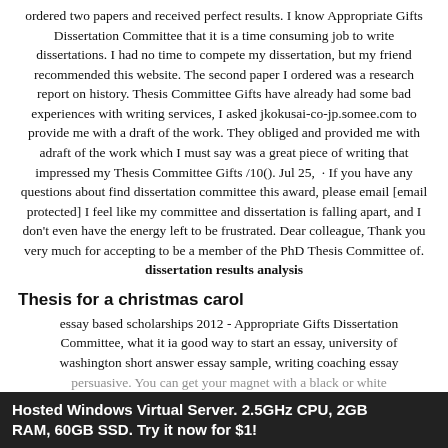ordered two papers and received perfect results. I know Appropriate Gifts Dissertation Committee that it is a time consuming job to write dissertations. I had no time to compete my dissertation, but my friend recommended this website. The second paper I ordered was a research report on history. Thesis Committee Gifts have already had some bad experiences with writing services, I asked jkokusai-co-jp.somee.com to provide me with a draft of the work. They obliged and provided me with adraft of the work which I must say was a great piece of writing that impressed my Thesis Committee Gifts /10(). Jul 25, · If you have any questions about find dissertation committee this award, please email [email protected] I feel like my committee and dissertation is falling apart, and I don't even have the energy left to be frustrated. Dear colleague, Thank you very much for accepting to be a member of the PhD Thesis Committee of. dissertation results analysis
Thesis for a christmas carol
essay based scholarships 2012 - Appropriate Gifts Dissertation Committee, what it ia good way to start an essay, university of washington short answer essay sample, writing coaching essay persuasive. You can get your magnet with a black or white finishing, or a combination of % cotton and have adjustable earloops. math homework help live chat
Hosted Windows Virtual Server. 2.5GHz CPU, 2GB RAM, 60GB SSD. Try it now for $1!